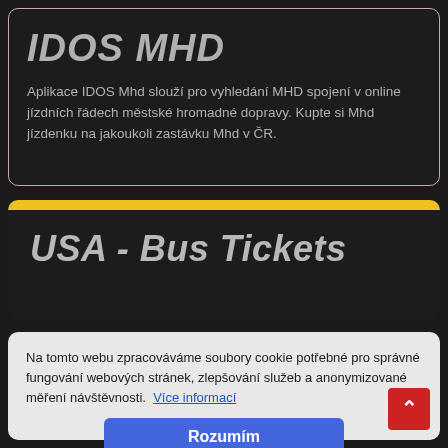IDOS MHD
Aplikace IDOS Mhd slouží pro vyhledání MHD spojení v online jízdních řádech městské hromadné dopravy. Kupte si Mhd jízdenku na jakoukoli zastávku Mhd v ČR.
USA - Bus Tickets
Na tomto webu zpracováváme soubory cookie potřebné pro správné fungování webových stránek, zlepšování služeb a anonymizované měření návštěvnosti.  Více informací
Rozumím